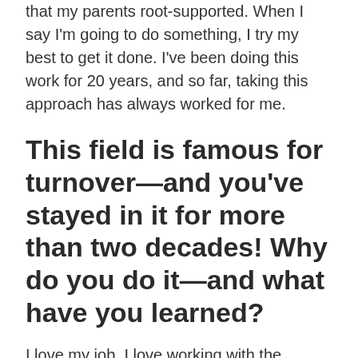that my parents root-supported. When I say I'm going to do something, I try my best to get it done. I've been doing this work for 20 years, and so far, taking this approach has always worked for me.
This field is famous for turnover—and you've stayed in it for more than two decades! Why do you do it—and what have you learned?
I love my job. I love working with the families. Knowing that I'm making some kind of a difference in families' lives keeps me doing this.